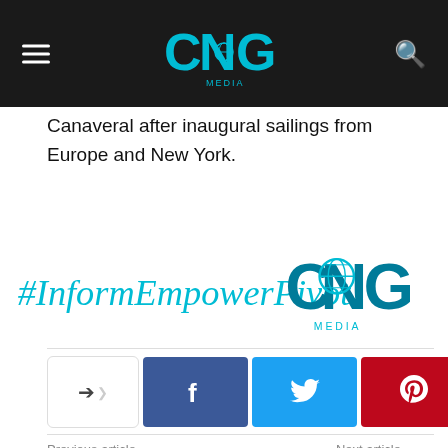CNG Media
Canaveral after inaugural sailings from Europe and New York.
[Figure (logo): #InformEmpowerPivot CNG Media logo banner]
[Figure (other): Social share buttons: share toggle, Facebook, Twitter, Pinterest, WhatsApp]
Previous article
Next article
US-China must work together
Indian management